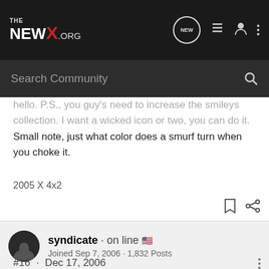THE NEWX.ORG
hello. P.S., you guy's need to increase the smileys collection. I want a wicked icon or two, you can do it.
Small note, just what color does a smurf turn when you choke it.
2005 X 4x2
syndicate · on line
Joined Sep 7, 2006 · 1,832 Posts
#16 · Dec 17, 2006